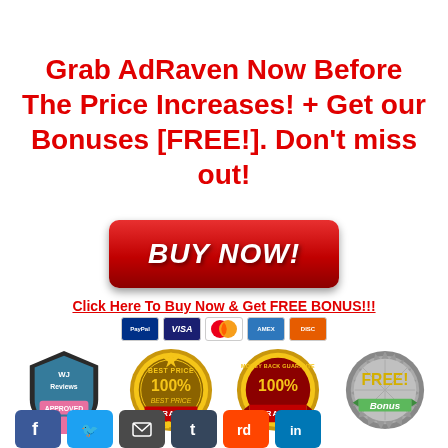Grab AdRaven Now Before The Price Increases! + Get our Bonuses [FREE!]. Don't miss out!
[Figure (illustration): Red BUY NOW button with white italic bold text]
Click Here To Buy Now & Get FREE BONUS!!!
[Figure (illustration): Payment icons: PayPal, Visa, Mastercard, American Express, Discover]
[Figure (illustration): Four trust badges: WJ Reviews Approved, Best Price 100% Guarantee, Money Back 100% Guaranteed, Free Bonus]
[Figure (illustration): Social media icons: Facebook, Twitter, Email, Tumblr, Reddit, LinkedIn]